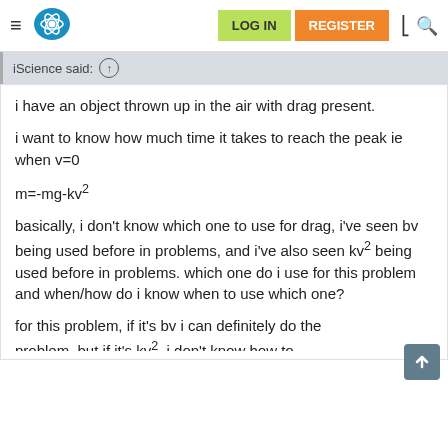LOG IN  REGISTER
iScience said: ↑
i have an object thrown up in the air with drag present.
i want to know how much time it takes to reach the peak ie when v=0
basically, i don't know which one to use for drag, i've seen bv being used before in problems, and i've also seen kv² being used before in problems. which one do i use for this problem and when/how do i know when to use which one?
for this problem, if it's bv i can definitely do the problem, but if it's kv², i don't know how to